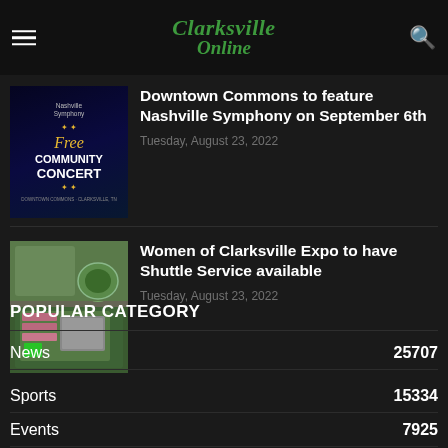Clarksville Online
[Figure (photo): Nashville Symphony Free Community Concert promotional image with dark blue background and gold star decorations]
Downtown Commons to feature Nashville Symphony on September 6th
Tuesday, August 23, 2022
[Figure (photo): Aerial satellite map view of an expo/event venue with parking lots highlighted in pink/orange and green]
Women of Clarksville Expo to have Shuttle Service available
Tuesday, August 23, 2022
POPULAR CATEGORY
News 25707
Sports 15334
Events 7925